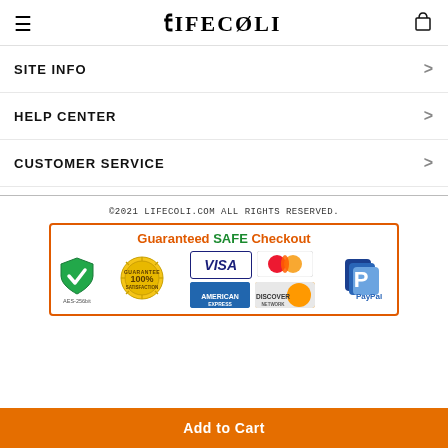LIFECOLI (logo with hamburger menu and cart icon)
SITE INFO
HELP CENTER
CUSTOMER SERVICE
©2021 LIFECOLI.COM ALL RIGHTS RESERVED.
[Figure (infographic): Guaranteed SAFE Checkout badge with AES-256bit shield, 100% Satisfaction Guarantee medallion, Visa, MasterCard, American Express, Discover, and PayPal logos]
Add to Cart